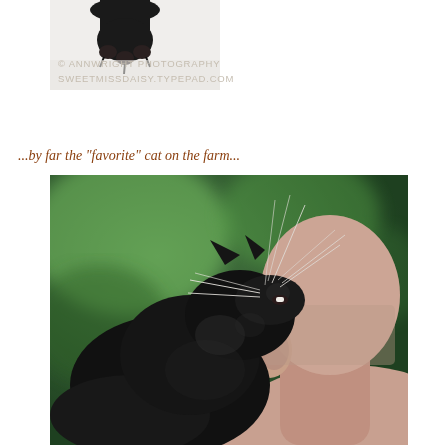[Figure (photo): Top portion of a black cat's paw/leg hanging from above, black and white photo style, partially visible at top of page with a watermark overlay]
© Ann Wright Photography
SweetMissDaisy.Typepad.com
...by far the "favorite" cat on the farm...
[Figure (photo): A black cat with long whiskers nuzzling or biting the head/ear of a bald man, with a blurred green bokeh background. The cat's face is very close to the man's ear and the back of his head is visible.]